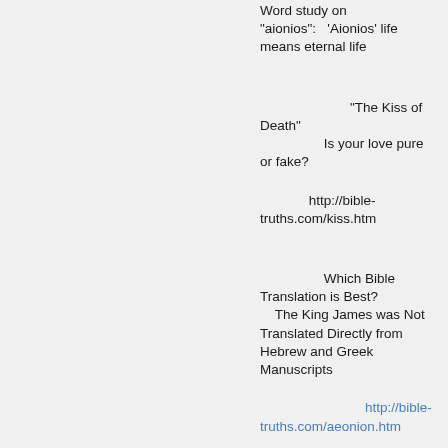Word study on “aionios”:   ‘Aionios’ life means eternal life
“The Kiss of Death”
Is your love pure or fake?
http://bible-truths.com/kiss.htm
Which Bible Translation is Best?
    The King James was Not Translated Directly from Hebrew and Greek Manuscripts
http://bible-truths.com/aeonion.htm